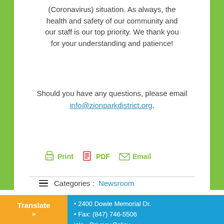(Coronavirus) situation. As always, the health and safety of our community and our staff is our top priority. We thank you for your understanding and patience!
Should you have any questions, please email info@zionparkdistrict.org.
Print  PDF  Email
Categories : Newsroom
Translate » • 2400 Dowie Memorial Dr. • Fax: (847) 746-5506 ials • Privacy Policy